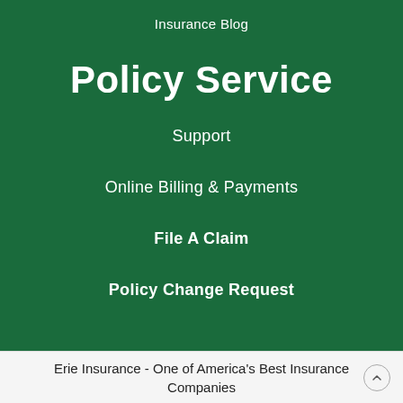Insurance Blog
Policy Service
Support
Online Billing & Payments
File A Claim
Policy Change Request
Erie Insurance - One of America's Best Insurance Companies